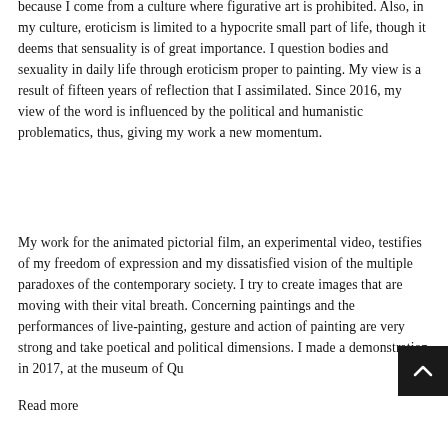...the human and ﬁltery through functions, because I come from a culture where figurative art is prohibited. Also, in my culture, eroticism is limited to a hypocrite small part of life, though it deems that sensuality is of great importance. I question bodies and sexuality in daily life through eroticism proper to painting. My view is a result of fifteen years of reflection that I assimilated. Since 2016, my view of the word is influenced by the political and humanistic problematics, thus, giving my work a new momentum.
My work for the animated pictorial film, an experimental video, testifies of my freedom of expression and my dissatisfied vision of the multiple paradoxes of the contemporary society. I try to create images that are moving with their vital breath. Concerning paintings and the performances of live-painting, gesture and action of painting are very strong and take poetical and political dimensions. I made a demonstration in 2017, at the museum of Qu...
Read more